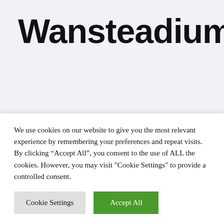Wansteadium
Six reasons to come and see It's A Wonderful Life
We use cookies on our website to give you the most relevant experience by remembering your preferences and repeat visits. By clicking “Accept All”, you consent to the use of ALL the cookies. However, you may visit "Cookie Settings" to provide a controlled consent.
Cookie Settings
Accept All